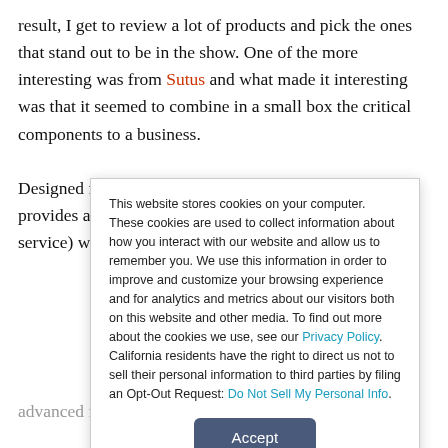result, I get to review a lot of products and pick the ones that stand out to be in the show. One of the more interesting was from Sutus and what made it interesting was that it seemed to combine in a small box the critical components to a business.
Designed for offices with up to 20 people, this product provides advanced VoIP and POTS (plain old telephone service) with
This website stores cookies on your computer. These cookies are used to collect information about how you interact with our website and allow us to remember you. We use this information in order to improve and customize your browsing experience and for analytics and metrics about our visitors both on this website and other media. To find out more about the cookies we use, see our Privacy Policy. California residents have the right to direct us not to sell their personal information to third parties by filing an Opt-Out Request: Do Not Sell My Personal Info.
Accept